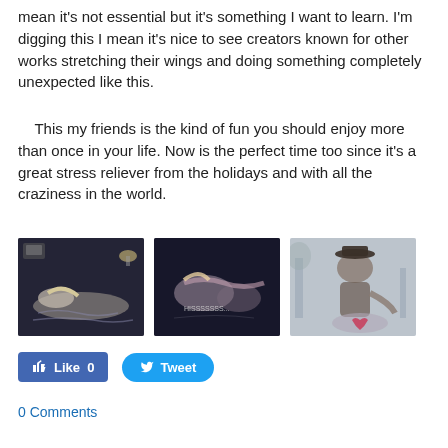mean it's not essential but it's something I want to learn.  I'm digging this I mean it's nice to see creators known for other works stretching their wings and doing something completely unexpected like this.
This my friends is the kind of fun you should enjoy more than once in your life.  Now is the perfect time too since it's a great stress reliever from the holidays and with all the craziness in the world.
[Figure (illustration): Dark illustration showing a figure lying down, horror/comic art style]
[Figure (illustration): Dark illustration showing figures, horror/comic art style with text 'HISSSSSSS...']
[Figure (illustration): Dark illustration showing a figure in a hat, horror/comic art style]
Like 0
Tweet
0 Comments